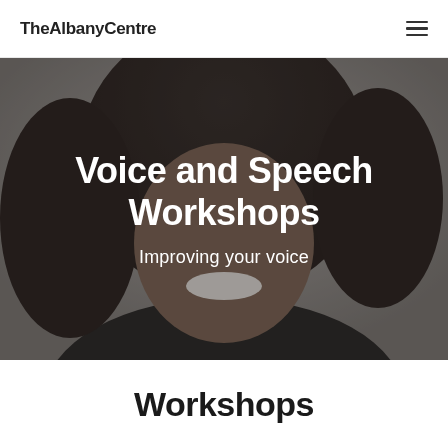TheAlbanyCentre
[Figure (photo): Close-up photo of a smiling woman with curly hair against a light background, used as hero image for Voice and Speech Workshops page]
Voice and Speech Workshops
Improving your voice
Workshops